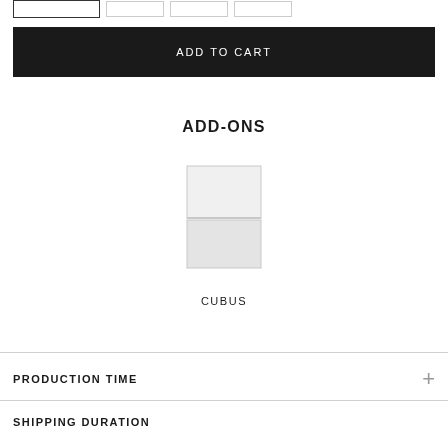[Figure (other): Thumbnail image strip showing selected and unselected product images]
ADD TO CART
ADD-ONS
[Figure (illustration): Product illustration of CUBUS - a cube-shaped shelf/storage unit shown as a simple line drawing]
CUBUS
PRODUCTION TIME
SHIPPING DURATION